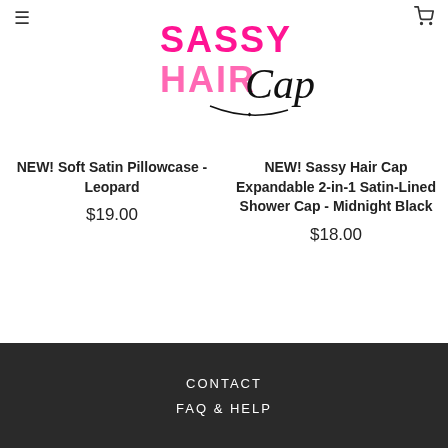[Figure (logo): Sassy Hair Cap logo with pink and black lettering and cursive script]
NEW! Soft Satin Pillowcase - Leopard
$19.00
NEW! Sassy Hair Cap Expandable 2-in-1 Satin-Lined Shower Cap - Midnight Black
$18.00
CONTACT
FAQ & HELP